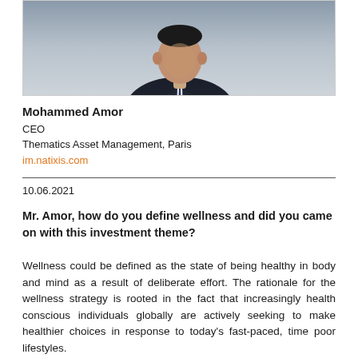[Figure (photo): Headshot photo of Mohammed Amor, CEO of Thematics Asset Management, wearing a dark suit and tie, cropped at chest level.]
Mohammed Amor
CEO
Thematics Asset Management, Paris
im.natixis.com
10.06.2021
Mr. Amor, how do you define wellness and did you came on with this investment theme?
Wellness could be defined as the state of being healthy in body and mind as a result of deliberate effort. The rationale for the wellness strategy is rooted in the fact that increasingly health conscious individuals globally are actively seeking to make healthier choices in response to today's fast-paced, time poor lifestyles.
The idea for the Wellness fund began 18 months ago